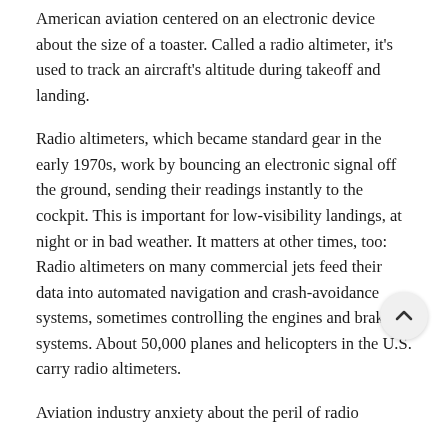American aviation centered on an electronic device about the size of a toaster. Called a radio altimeter, it's used to track an aircraft's altitude during takeoff and landing.
Radio altimeters, which became standard gear in the early 1970s, work by bouncing an electronic signal off the ground, sending their readings instantly to the cockpit. This is important for low-visibility landings, at night or in bad weather. It matters at other times, too: Radio altimeters on many commercial jets feed their data into automated navigation and crash-avoidance systems, sometimes controlling the engines and braking systems. About 50,000 planes and helicopters in the U.S. carry radio altimeters.
Aviation industry anxiety about the peril of radio